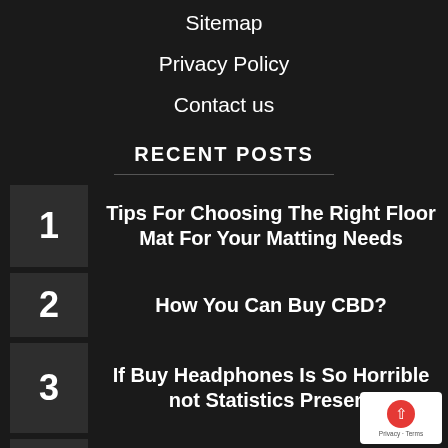Sitemap
Privacy Policy
Contact us
RECENT POSTS
1 Tips For Choosing The Right Floor Mat For Your Matting Needs
2 How You Can Buy CBD?
3 If Buy Headphones Is So Horrible not Statistics Present
4 3 Reasons to Dress Unique